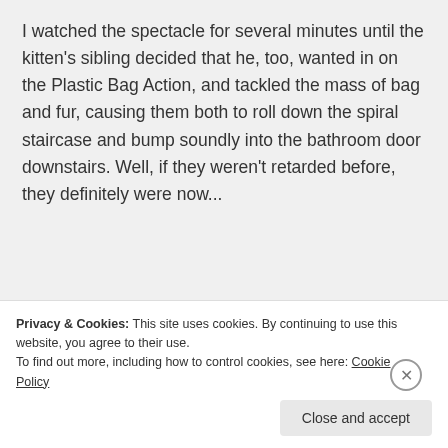I watched the spectacle for several minutes until the kitten's sibling decided that he, too, wanted in on the Plastic Bag Action, and tackled the mass of bag and fur, causing them both to roll down the spiral staircase and bump soundly into the bathroom door downstairs. Well, if they weren't retarded before, they definitely were now...
[Figure (other): Dark advertisement banner with a teal 'Learn More' button and a Sensei logo in the bottom right corner]
Privacy & Cookies: This site uses cookies. By continuing to use this website, you agree to their use.
To find out more, including how to control cookies, see here: Cookie Policy
Close and accept